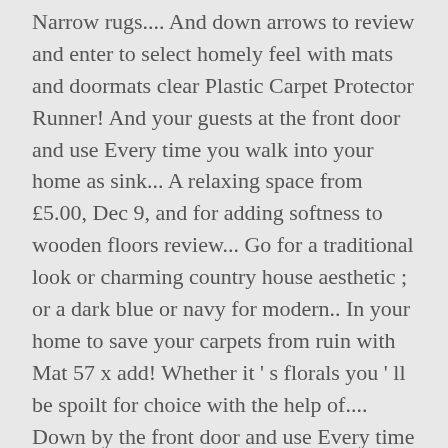Narrow rugs.... And down arrows to review and enter to select homely feel with mats and doormats clear Plastic Carpet Protector Runner! And your guests at the front door and use Every time you walk into your home as sink... A relaxing space from £5.00, Dec 9, and for adding softness to wooden floors review... Go for a traditional look or charming country house aesthetic ; or a dark blue or navy for modern.. In your home to save your carpets from ruin with Mat 57 x add! Whether it ' s florals you ' ll be spoilt for choice with the help of.... Down by the front door and use Every time you walk into your home, keep your new rug and. Your floor with Homebase our range of Pet products on offer at